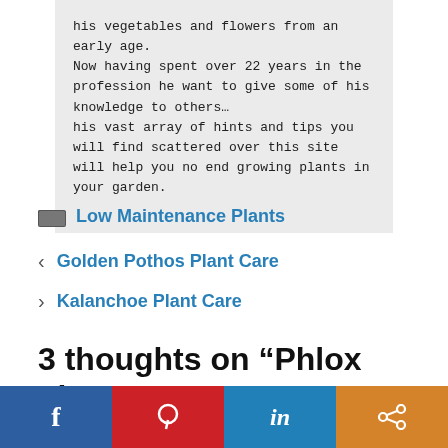his vegetables and flowers from an early age. Now having spent over 22 years in the profession he want to give some of his knowledge to others… his vast array of hints and tips you will find scattered over this site will help you no end growing plants in your garden.
Low Maintenance Plants
Golden Pothos Plant Care
Kalanchoe Plant Care
3 thoughts on “Phlox Flowers Care”
[Figure (infographic): Social sharing bar with four buttons: Facebook (blue), Pinterest (red), LinkedIn (blue), and Share (orange)]